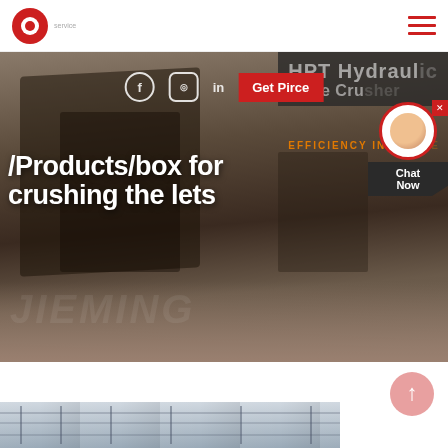[Figure (screenshot): Website header with red circular logo and hamburger menu icon (three red horizontal lines) on the right]
[Figure (photo): Industrial crushing/mining equipment facility hero image with overlay text. Shows HPT Hydraulic Cone Crusher machinery with text overlays including social media icons, Get Price button, chat widget, breadcrumb navigation, and tagline.]
/Products/box for crushing the lets
HPT Hydraulic Cone Cr...
EFFICIENCY INCREA...
Get Pirce
Chat Now
[Figure (photo): Bottom strip showing partial view of industrial facility interior, partially cut off at page bottom]